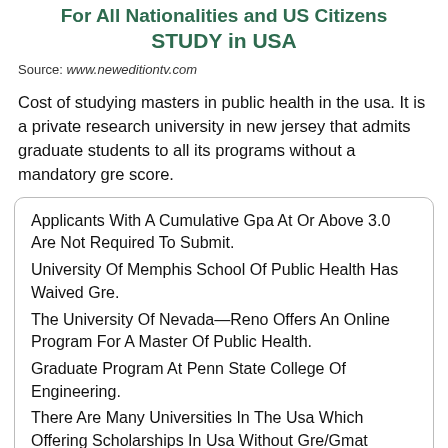For All Nationalities and US Citizens STUDY in USA
Source: www.neweditiontv.com
Cost of studying masters in public health in the usa. It is a private research university in new jersey that admits graduate students to all its programs without a mandatory gre score.
Applicants With A Cumulative Gpa At Or Above 3.0 Are Not Required To Submit.
University Of Memphis School Of Public Health Has Waived Gre.
The University Of Nevada—Reno Offers An Online Program For A Master Of Public Health.
Graduate Program At Penn State College Of Engineering.
There Are Many Universities In The Usa Which Offering Scholarships In Usa Without Gre/Gmat